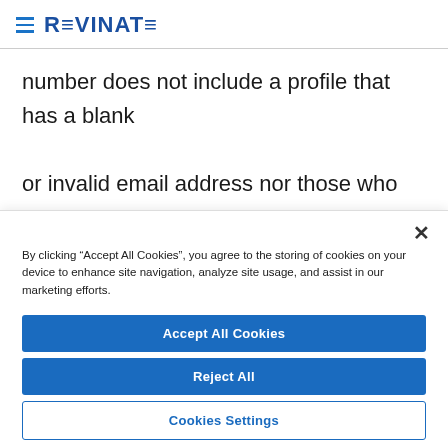REVINATE
number does not include a profile that has a blank or invalid email address nor those who are unsubscribed.
By clicking “Accept All Cookies”, you agree to the storing of cookies on your device to enhance site navigation, analyze site usage, and assist in our marketing efforts.
Accept All Cookies
Reject All
Cookies Settings